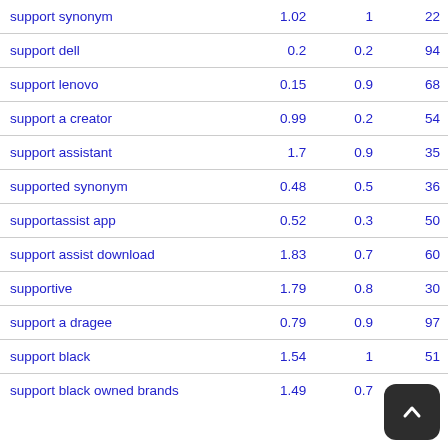|  |  |  |  |
| --- | --- | --- | --- |
| support synonym | 1.02 | 1 | 22 |
| support dell | 0.2 | 0.2 | 94 |
| support lenovo | 0.15 | 0.9 | 68 |
| support a creator | 0.99 | 0.2 | 54 |
| support assistant | 1.7 | 0.9 | 35 |
| supported synonym | 0.48 | 0.5 | 36 |
| supportassist app | 0.52 | 0.3 | 50 |
| support assist download | 1.83 | 0.7 | 60 |
| supportive | 1.79 | 0.8 | 30 |
| support a dragee | 0.79 | 0.9 | 97 |
| support black | 1.54 | 1 | 51 |
| support black owned brands | 1.49 | 0.7 |  |